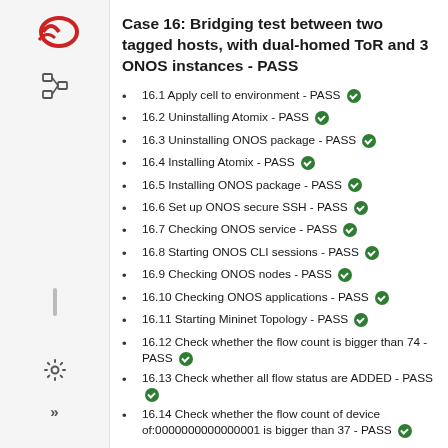Case 16: Bridging test between two tagged hosts, with dual-homed ToR and 3 ONOS instances - PASS
16.1 Apply cell to environment - PASS ✅
16.2 Uninstalling Atomix - PASS ✅
16.3 Uninstalling ONOS package - PASS ✅
16.4 Installing Atomix - PASS ✅
16.5 Installing ONOS package - PASS ✅
16.6 Set up ONOS secure SSH - PASS ✅
16.7 Checking ONOS service - PASS ✅
16.8 Starting ONOS CLI sessions - PASS ✅
16.9 Checking ONOS nodes - PASS ✅
16.10 Checking ONOS applications - PASS ✅
16.11 Starting Mininet Topology - PASS ✅
16.12 Check whether the flow count is bigger than 74 - PASS ✅
16.13 Check whether all flow status are ADDED - PASS ✅
16.14 Check whether the flow count of device of:0000000000000001 is bigger than 37 - PASS ✅